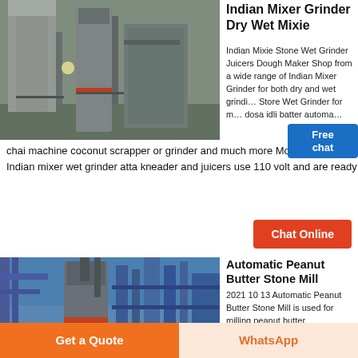[Figure (photo): Industrial grinding mill equipment with large cylindrical structures, pipes, and processing machinery inside a factory]
Indian Mixer Grinder Dry Wet Mixie
Indian Mixie Stone Wet Grinder Juicers Dough Maker Shop from a wide range of Indian Mixer Grinder for both dry and wet grinding. Store Wet Grinder for making dosa idli batter automatically chai machine coconut scrapper or grinder and much more Most of our Online Indian mixer wet grinder atta kneader and juicers use 110 volt and are ready
[Figure (infographic): Free chat widget with customer service representative image]
Chat Online
[Figure (photo): Industrial stone mill or peanut butter processing equipment outdoors with blue sky background, large cylindrical grinder with pipes and metallic framework]
Automatic Peanut Butter Stone Mill
2021 10 13 Automatic Peanut Butter Stone Mill is used for milling peanut butter
Get a Quote
WhatsApp